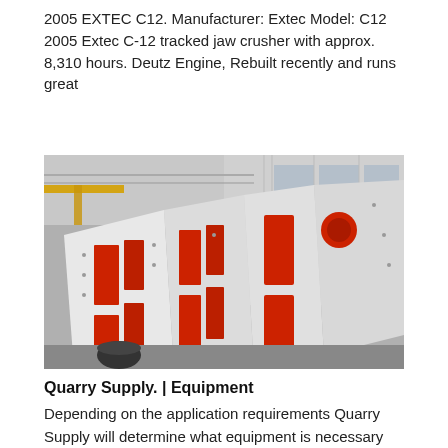2005 EXTEC C12. Manufacturer: Extec Model: C12 2005 Extec C-12 tracked jaw crusher with approx. 8,310 hours. Deutz Engine, Rebuilt recently and runs great
[Figure (photo): Industrial jaw crusher machinery with red and white metal panels leaning against a wall inside a large factory/warehouse building. Yellow crane visible in background.]
Quarry Supply. | Equipment
Depending on the application requirements Quarry Supply will determine what equipment is necessary for the project.